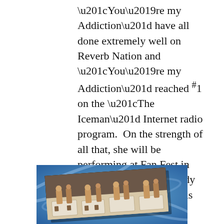“You’re my Addiction” have all done extremely well on Reverb Nation and “You’re my Addiction” reached #1 on the “The Iceman” Internet radio program.  On the strength of all that, she will be performing at Fan Fest in Nashville in 2015.  Mandy has the vocal goods and is right in the middle of the country/pop style with a great future. Click on Mandy’s album art to watch her music videos.
[Figure (photo): A photograph showing a musical group or orchestra performing at a venue with tables, against a blue textured background, presented as a slightly tilted photo card.]